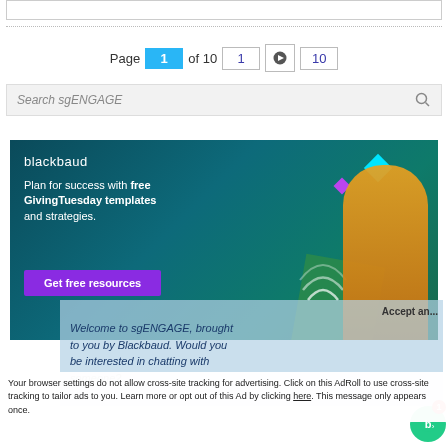[Figure (screenshot): Top bar UI element - white rectangular bar with border]
Page 1 of 10  1  ▶  10
[Figure (screenshot): Search box with placeholder text 'Search sgENGAGE' and a search icon]
[Figure (illustration): Blackbaud advertisement banner: dark teal background with text 'Plan for success with free GivingTuesday templates and strategies.' and a purple 'Get free resources' button. Decorative geometric shapes and a smiling person in yellow shirt on the right.]
Welcome to sgENGAGE, brought to you by Blackbaud. Would you be interested in chatting with someone?
Accept an...
Your browser settings do not allow cross-site tracking for advertising. Click on this AdRoll to use cross-site tracking to tailor ads to you. Learn more or opt out of this Ad by clicking here. This message only appears once.